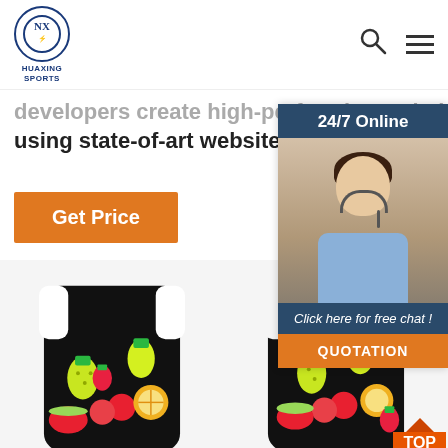[Figure (screenshot): Website header with Huaxing Sports logo (circular blue logo), search icon, and hamburger menu icon on white background.]
developers create high-performing websites using state-of-art website development practices.
Get Price
[Figure (infographic): 24/7 Online customer service chat widget with photo of smiling woman with headset, 'Click here for free chat!' text and orange QUOTATION button.]
[Figure (photo): Two black swim vests/flotation jackets for children with colorful fruit pattern (pineapples, cherries, strawberries, watermelon, citrus) on a white background.]